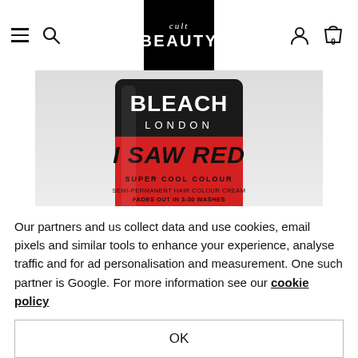Cult Beauty navigation header with hamburger menu, search icon, Cult Beauty logo, user icon, and bag icon showing 0 items
[Figure (photo): Red cylindrical product bottle of Bleach London 'I Saw Red' Super Cool Colour Semi-Permanent Hair Colour Cream, 150ml / 5.07 US fl oz, with black label area at top showing brand name, and bold italic product name on red background. Text includes: BLEACH LONDON, I SAW RED, SUPER COOL COLOUR, SEMI-PERMANENT HAIR COLOUR CREAM, FADES OUT IN 3-30 WASHES, VEGAN AND CRUELTY FREE, 150ml e 5.07 US fl oz]
Our partners and us collect data and use cookies, email pixels and similar tools to enhance your experience, analyse traffic and for ad personalisation and measurement. One such partner is Google. For more information see our cookie policy
OK